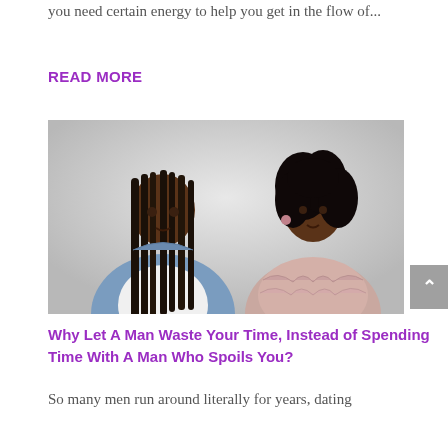you need certain energy to help you get in the flow of...
READ MORE
[Figure (photo): A man with long dreadlocks wearing a denim jacket over a white t-shirt, sitting next to a woman with curly black hair wearing a pink ruffled top, both seated against a light grey background.]
Why Let A Man Waste Your Time, Instead of Spending Time With A Man Who Spoils You?
So many men run around literally for years, dating